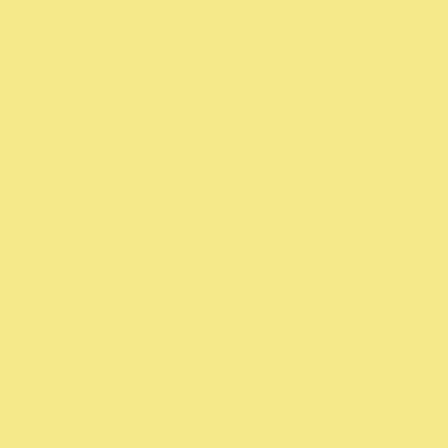I'm excited to find out all the features that are hard to find in other cameras! (There's a feature for letting it know when you'll be away from you home... so any photos captured during that period will be recorded differently. And you don't have to set it back!!) I bought the Sony A7Rii because it h... Well, what would I get excited about
Posted by: Edwin | Friday, 04 May 2018 at 11:17 PM
Indeed, yes...what a 20 years it has b... than photography, ahem...). But, I th... the most amazing thing about the A7... the middle. And it really is a high ba...
My camera kits are better than that, a... pretty much every way I can imagine... negatives I read about them have mo... small differences.
...ffter in this...